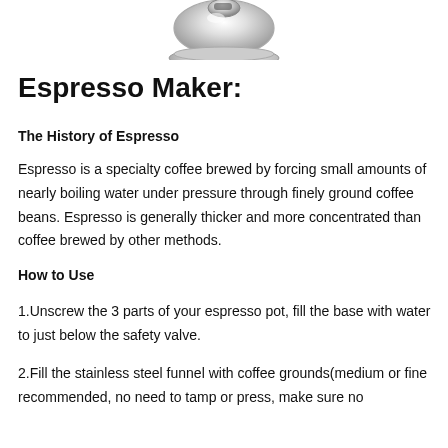[Figure (photo): Top portion of a stainless steel espresso maker pot, showing the lid and upper body with reflective metallic surface.]
Espresso Maker:
The History of Espresso
Espresso is a specialty coffee brewed by forcing small amounts of nearly boiling water under pressure through finely ground coffee beans. Espresso is generally thicker and more concentrated than coffee brewed by other methods.
How to Use
1.Unscrew the 3 parts of your espresso pot, fill the base with water to just below the safety valve.
2.Fill the stainless steel funnel with coffee grounds(medium or fine recommended, no need to tamp or press, make sure no